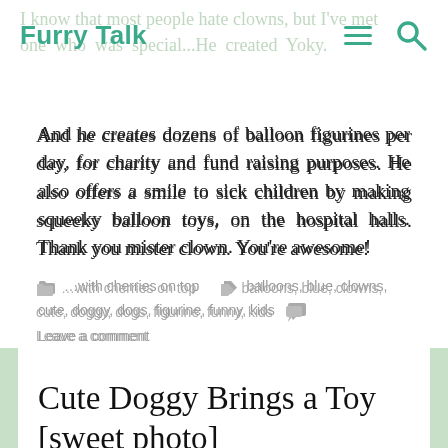Furry Talk
I know that most people hate clowns, but I've met one who was special...He created Yoky. And he creates dozens of balloon figurines per day, for charity and fund raising purposes. He also offers a smile to sick children by making squeeky balloon toys, on the hospital halls. Thank you mister clown. You're awesome!
…with cherries on top   balloons, blue, clowns, cute, doggy, dogs, figurine, funny, kids   Leave a comment
Cute Doggy Brings a Toy [sweet photo]
May 28, 2012   Giulia